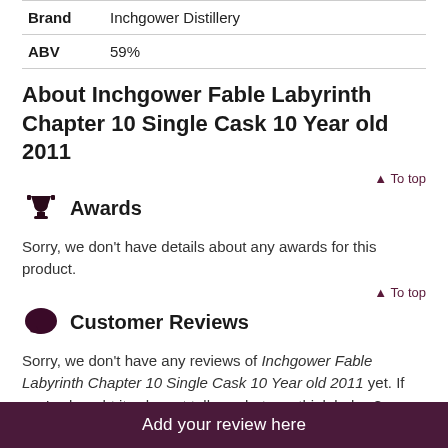| Brand | Inchgower Distillery |
| ABV | 59% |
About Inchgower Fable Labyrinth Chapter 10 Single Cask 10 Year old 2011
▲ To top
Awards
Sorry, we don't have details about any awards for this product.
▲ To top
Customer Reviews
Sorry, we don't have any reviews of Inchgower Fable Labyrinth Chapter 10 Single Cask 10 Year old 2011 yet. If you've bought it, why not tell us what you think below?
Add your review here